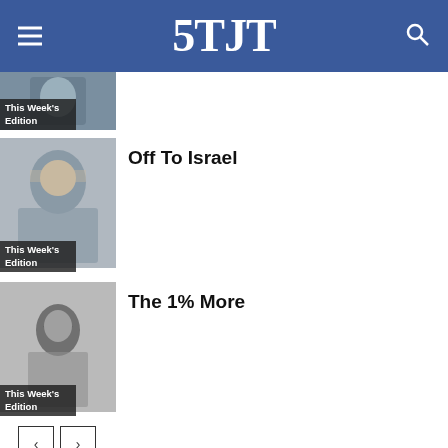5TJT
[Figure (photo): Thumbnail photo with 'This Week's Edition' label (partially cropped at top)]
[Figure (photo): Thumbnail photo of a bald man with 'This Week's Edition' label]
Off To Israel
[Figure (photo): Black and white thumbnail photo of a person with 'This Week's Edition' label]
The 1% More
< >
1 COMMENT
yehuda Shain